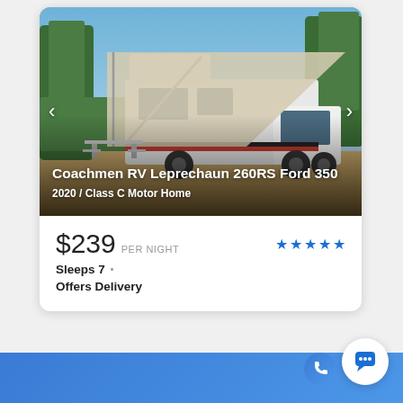[Figure (photo): Photo of a white Coachmen RV Leprechaun 260RS Ford 350 motorhome parked outdoors with its awning extended and a picnic table set up beside it. Blue sky and trees in the background.]
Coachmen RV Leprechaun 260RS Ford 350
2020 / Class C Motor Home
$239 PER NIGHT
Sleeps 7 · Offers Delivery